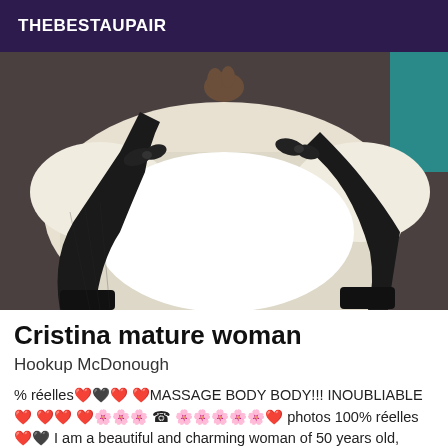THEBESTAUPAIR
[Figure (photo): Photo of a woman in black stockings and heels lying on a white bed, wearing a white dress with black ribbon accents]
Cristina mature woman
Hookup McDonough
% réelles❤️🖤❤️ ❤️MASSAGE BODY BODY!!! INOUBLIABLE❤️ ❤️❤️ ❤️🌸🌸🌸 ☎ 🌸🌸🌸🌸🌸❤️ photos 100% réelles❤️🖤 I am a beautiful and charming woman of 50 years old, pretty and in line with the photos. I am a